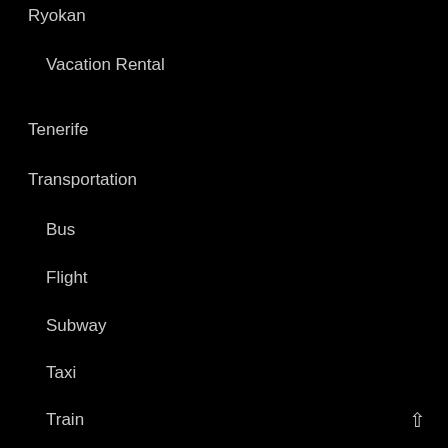Ryokan
Vacation Rental
Tenerife
Transportation
Bus
Flight
Subway
Taxi
Train